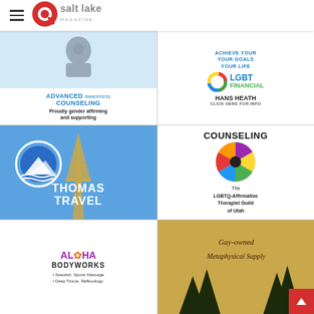Q Salt Lake Magazine
[Figure (logo): Q Salt Lake Magazine logo with red circle Q and white/gray text]
[Figure (advertisement): Advanced Awareness Counseling - Proudly gender affirming and supporting]
[Figure (advertisement): LGBT Financial - Hans Heath - Click Here For Info]
[Figure (advertisement): Thomas Travel - travel agency advertisement with Eiffel Tower]
[Figure (advertisement): COUNSELING - The LGBTQ-Affirmative Therapist Guild of Utah]
[Figure (advertisement): Aloha Bodyworks - Swedish, Sports Massage, Deep Tissue, Reflexology]
[Figure (advertisement): Gay-owned Metaphysical Supply]